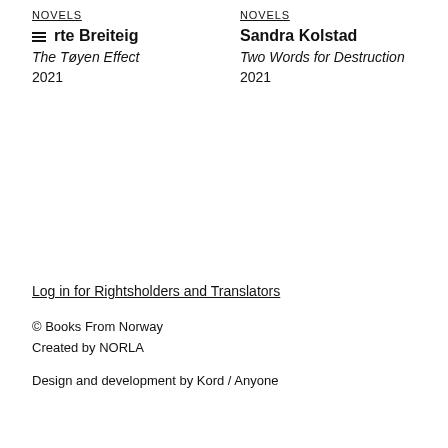NOVELS
rte Breiteig
The Tøyen Effect
2021
NOVELS
Sandra Kolstad
Two Words for Destruction
2021
Log in for Rightsholders and Translators
© Books From Norway
Created by NORLA

Design and development by Kord / Anyone